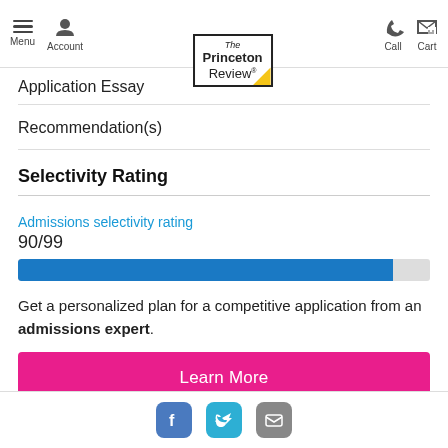Menu | Account | The Princeton Review | Call | Cart
Application Essay
Recommendation(s)
Selectivity Rating
Admissions selectivity rating
90/99
[Figure (bar-chart): Admissions selectivity rating]
Get a personalized plan for a competitive application from an admissions expert.
Learn More
[Figure (photo): Advertisement banner strip with person image]
Facebook | Twitter | Email social sharing buttons